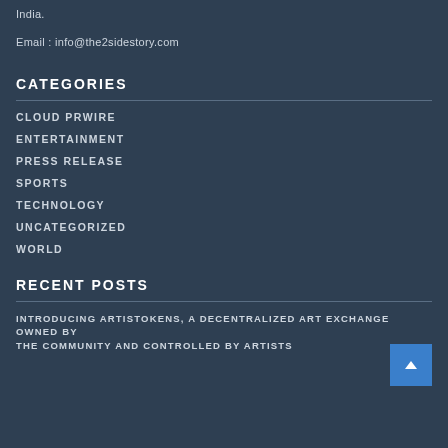India.
Email : info@the2sidestory.com
CATEGORIES
CLOUD PRWIRE
ENTERTAINMENT
PRESS RELEASE
SPORTS
TECHNOLOGY
UNCATEGORIZED
WORLD
RECENT POSTS
INTRODUCING ARTISTOKENS, A DECENTRALIZED ART EXCHANGE OWNED BY THE COMMUNITY AND CONTROLLED BY ARTISTS